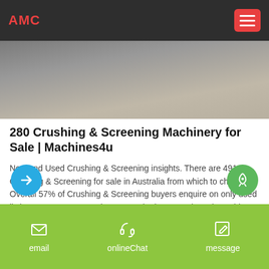AMC
[Figure (photo): Hero image of crushed stone/gravel ground surface, gray and tan tones]
280 Crushing & Screening Machinery for Sale | Machines4u
New and Used Crushing & Screening insights. There are 491 Crushing & Screening for sale in Australia from which to choose. Overall 57% of Crushing & Screening buyers enquire on only used listings, 41% on new and 6.75% on both new and used Crushing & Screening items.Buyers usually enquire on 2.13 different Crushing & Screening classifieds before organising finance for Crushing & Screening.
email | onlineChat | message